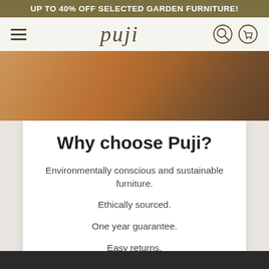UP TO 40% OFF SELECTED GARDEN FURNITURE!
[Figure (logo): Puji logo with hamburger menu icon, search icon, and cart icon in navigation bar]
[Figure (photo): Hero banner image showing warm-toned wooden furniture surface with blurred background]
Why choose Puji?
Environmentally conscious and sustainable furniture.
Ethically sourced.
One year guarantee.
Easy returns.
UK Mainland delivery from £4.95*.